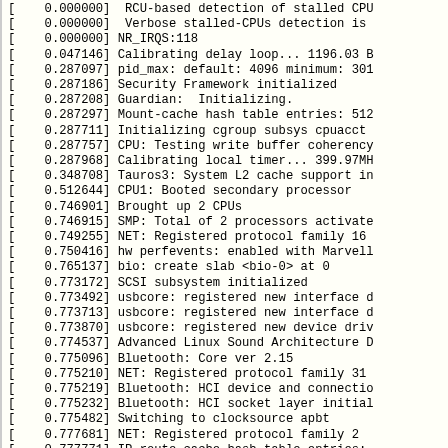[    0.000000]  RCU-based detection of stalled CPU
[    0.000000]  Verbose stalled-CPUs detection is
[    0.000000] NR_IRQS:118
[    0.047146] Calibrating delay loop... 1196.03 B
[    0.287097] pid_max: default: 4096 minimum: 301
[    0.287186] Security Framework initialized
[    0.287208] Guardian:  Initializing.
[    0.287297] Mount-cache hash table entries: 512
[    0.287711] Initializing cgroup subsys cpuacct
[    0.287757] CPU: Testing write buffer coherency
[    0.287968] Calibrating local timer... 399.97MH
[    0.348708] Tauros3: System L2 cache support in
[    0.512644] CPU1: Booted secondary processor
[    0.746901] Brought up 2 CPUs
[    0.746915] SMP: Total of 2 processors activate
[    0.749255] NET: Registered protocol family 16
[    0.750416] hw perfevents: enabled with Marvell
[    0.765137] bio: create slab <bio-0> at 0
[    0.773172] SCSI subsystem initialized
[    0.773492] usbcore: registered new interface d
[    0.773713] usbcore: registered new interface d
[    0.773870] usbcore: registered new device driv
[    0.774537] Advanced Linux Sound Architecture D
[    0.775096] Bluetooth: Core ver 2.15
[    0.775210] NET: Registered protocol family 31
[    0.775219] Bluetooth: HCI device and connectio
[    0.775232] Bluetooth: HCI socket layer initial
[    0.775482] Switching to clocksource apbt
[    0.777681] NET: Registered protocol family 2
[    0.777771] IP route cache hash table entries: